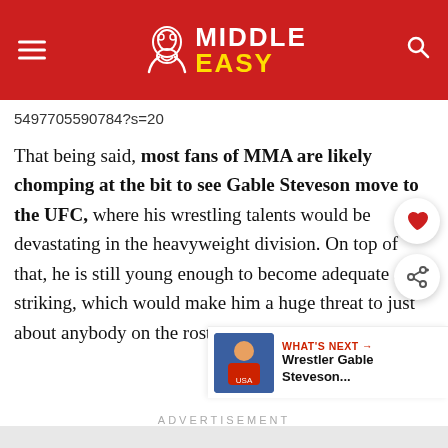MIDDLE EASY
5497705590784?s=20
That being said, most fans of MMA are likely chomping at the bit to see Gable Steveson move to the UFC, where his wrestling talents would be devastating in the heavyweight division. On top of that, he is still young enough to become adequate at striking, which would make him a huge threat to just about anybody on the roster.
ADVERTISEMENT
WHAT'S NEXT → Wrestler Gable Steveson...